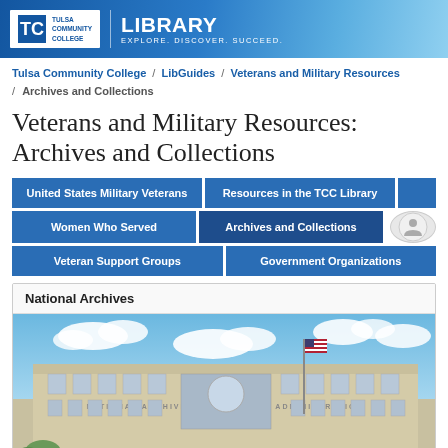Tulsa Community College | LIBRARY — EXPLORE. DISCOVER. SUCCEED.
Tulsa Community College / LibGuides / Veterans and Military Resources / Archives and Collections
Veterans and Military Resources: Archives and Collections
United States Military Veterans | Resources in the TCC Library | Women Who Served | Archives and Collections | Veteran Support Groups | Government Organizations
National Archives
[Figure (photo): Exterior photograph of the National Archives and Records Administration building, a large multi-story beige/tan building with large windows, an American flag, and blue sky with clouds in the background.]